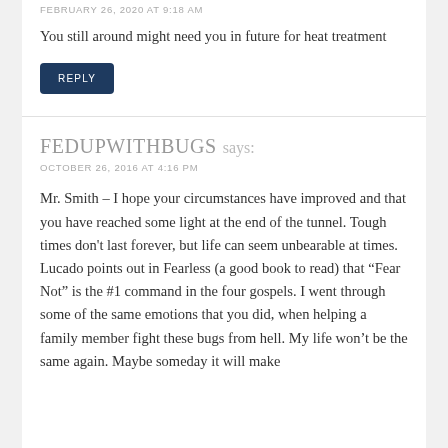FEBRUARY 26, 2020 AT 9:18 AM
You still around might need you in future for heat treatment
REPLY
FEDUPWITHBUGS says:
OCTOBER 26, 2016 AT 4:16 PM
Mr. Smith – I hope your circumstances have improved and that you have reached some light at the end of the tunnel. Tough times don't last forever, but life can seem unbearable at times. Lucado points out in Fearless (a good book to read) that "Fear Not" is the #1 command in the four gospels. I went through some of the same emotions that you did, when helping a family member fight these bugs from hell. My life won't be the same again. Maybe someday it will make